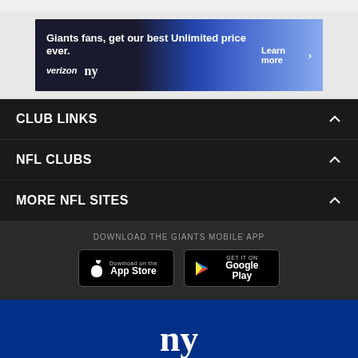[Figure (photo): Verizon and NY Giants advertisement banner: 'Giants fans, get our best Unlimited price ever.' with Verizon logo, NY Giants logo, and 'Learn more' call to action]
CLUB LINKS
NFL CLUBS
MORE NFL SITES
DOWNLOAD THE GIANTS MOBILE APP
[Figure (logo): Download on the App Store button]
[Figure (logo): GET IT ON Google Play button]
[Figure (logo): New York Giants ny logo in white on blue background]
© 2022 New York Giants. All Rights Reserved. Do not duplicate in any form without permission.